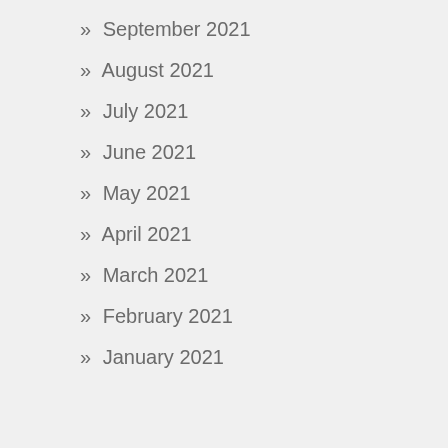» September 2021
» August 2021
» July 2021
» June 2021
» May 2021
» April 2021
» March 2021
» February 2021
» January 2021